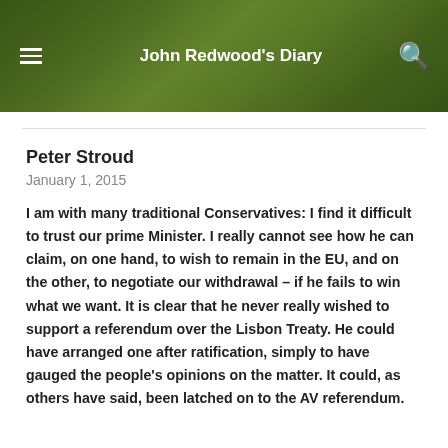John Redwood's Diary
Peter Stroud
January 1, 2015
I am with many traditional Conservatives: I find it difficult to trust our prime Minister. I really cannot see how he can claim, on one hand, to wish to remain in the EU, and on the other, to negotiate our withdrawal – if he fails to win what we want. It is clear that he never really wished to support a referendum over the Lisbon Treaty. He could have arranged one after ratification, simply to have gauged the people's opinions on the matter. It could, as others have said, been latched on to the AV referendum.